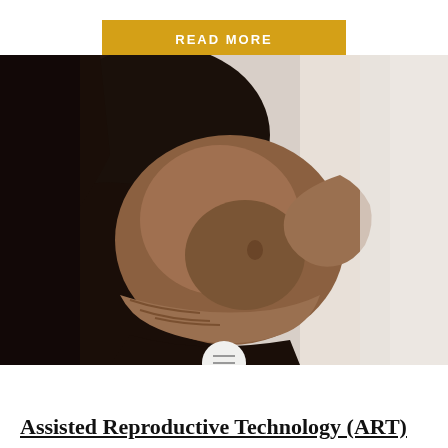READ MORE
[Figure (photo): Close-up side view of a pregnant woman in a black outfit cradling her bare belly with both hands, against a soft light background.]
Assisted Reproductive Technology (ART)